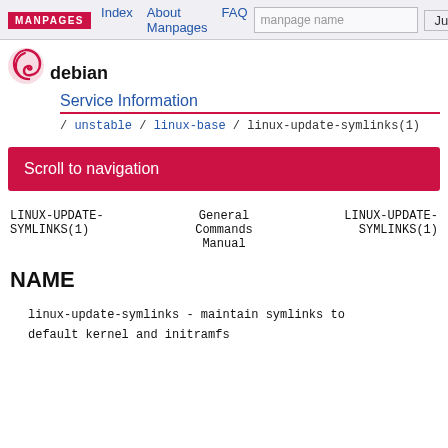MANPAGES | Index | About Manpages | FAQ | manpage name | Jump
[Figure (logo): Debian swirl logo with 'debian' text below]
Service Information
/ unstable / linux-base / linux-update-symlinks(1)
Scroll to navigation
LINUX-UPDATE-SYMLINKS(1)   General Commands Manual   LINUX-UPDATE-SYMLINKS(1)
NAME
linux-update-symlinks - maintain symlinks to default kernel and initramfs